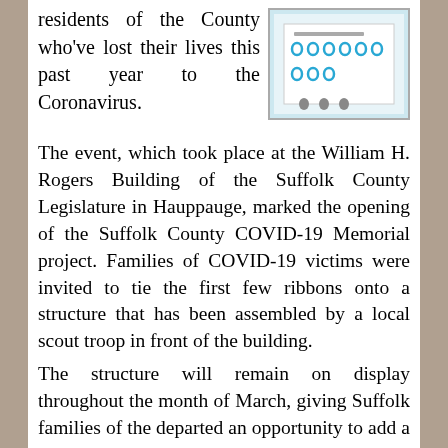residents of the County who've lost their lives this past year to the Coronavirus.
[Figure (photo): Photo of a sign or display with teal/blue ribbon icons arranged in rows, appearing to be a memorial ribbon display board.]
The event, which took place at the William H. Rogers Building of the Suffolk County Legislature in Hauppauge, marked the opening of the Suffolk County COVID-19 Memorial project. Families of COVID-19 victims were invited to tie the first few ribbons onto a structure that has been assembled by a local scout troop in front of the building.
The structure will remain on display throughout the month of March, giving Suffolk families of the departed an opportunity to add a ribbon in their loved one’s memory.
“We’ve all had to face the realization of what this deadly Coronavirus is capable of,” stated Legislator Nick Caracappa. “Whether directly or indirectly impacted by your community, in one way or another, everyone has been touched by this pandemic.”